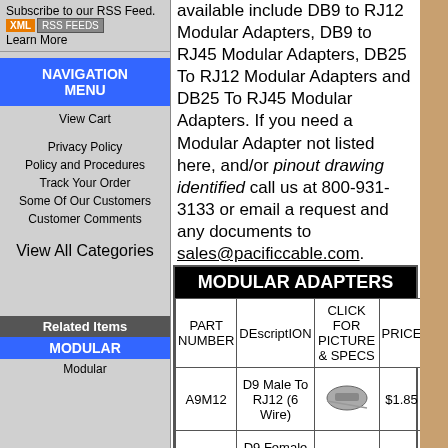Subscribe to our RSS Feed. Learn More
NAVIGATION MENU
View Cart
Privacy Policy
Policy and Procedures
Track Your Order
Some Of Our Customers
Customer Comments
View All Categories
Related Items
MODULAR
Modular
available include DB9 to RJ12 Modular Adapters, DB9 to RJ45 Modular Adapters, DB25 To RJ12 Modular Adapters and DB25 To RJ45 Modular Adapters. If you need a Modular Adapter not listed here, and/or pinout drawing identified call us at 800-931-3133 or email a request and any documents to sales@pacificcable.com.
| PART NUMBER | DEscriptION | CLICK FOR PICTURE & SPECS | PRICE | TO ORDER |
| --- | --- | --- | --- | --- |
| A9M12 | D9 Male To RJ12 (6 Wire) | [image] | $1.85 | Qty: 1 ORDER |
| A9F12 | D9 Female To RJ12 (6 Wire) |  | $1.85 | Qty: 1 ORDER |
| A9M45 | D9 Male To RJ45 (8 Wire) |  | $1.85 | Qty: 1 ORDER |
| A9F45 | D9 Female To RJ45 (8 Wire) |  | $1.85 | Qty: 1 ORDER |